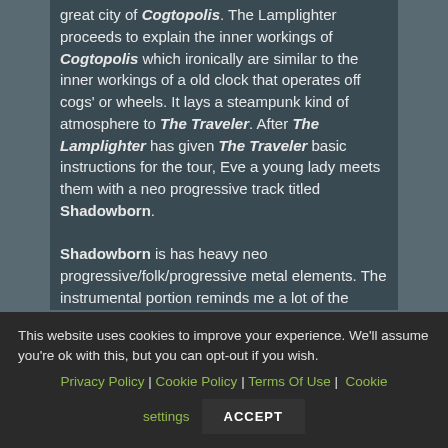The Traveler the listener a grand tour through the great city of Cogtopolis. The Lamplighter proceeds to explain the inner workings of Cogtopolis which ironically are similar to the inner workings of a old clock that operates off cogs' or wheels. It lays a steampunk kind of atmosphere to The Traveler. After The Lamplighter has given The Traveler basic instructions for the tour, Eve a young lady meets them with a neo progressive track titled Shadowborn. Shadowborn is has heavy neo progressive/folk/progressive metal elements. The instrumental portion reminds me a lot of the
This website uses cookies to improve your experience. We'll assume you're ok with this, but you can opt-out if you wish. Privacy Policy | Cookie Policy | Terms Of Use | Cookie settings ACCEPT